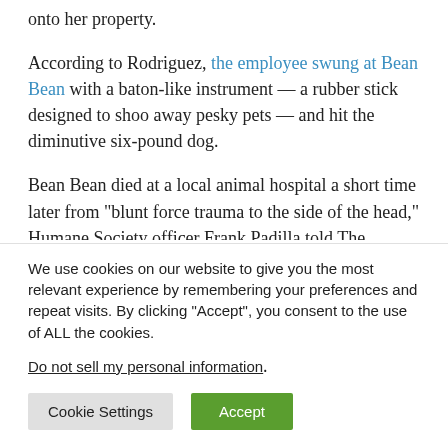onto her property.
According to Rodriguez, the employee swung at Bean Bean with a baton-like instrument — a rubber stick designed to shoo away pesky pets — and hit the diminutive six-pound dog.
Bean Bean died at a local animal hospital a short time later from “blunt force trauma to the side of the head,” Humane Society officer Frank Padilla told The Denver Enterprise.
We use cookies on our website to give you the most relevant experience by remembering your preferences and repeat visits. By clicking “Accept”, you consent to the use of ALL the cookies.
Do not sell my personal information.